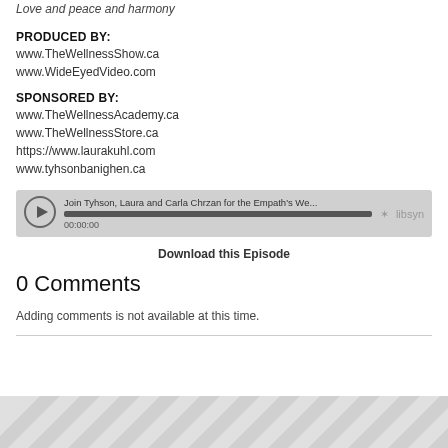Love and peace and harmony
PRODUCED BY:
www.TheWellnessShow.ca
www.WideEyedVideo.com
SPONSORED BY:
www.TheWellnessAcademy.ca
www.TheWellnessStore.ca
https://www.laurakuhl.com
www.tyhsonbanighen.ca
[Figure (other): Podcast audio player widget showing: 'Join Tyhson, Laura and Carla Chrzan for the Empath's We...' with play button, progress bar at 00:00:00, and libsyn logo]
Download this Episode
0 Comments
Adding comments is not available at this time.